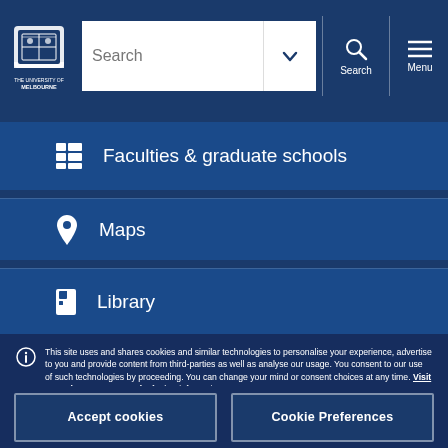University of Melbourne — Search bar with logo, search input, search button, and menu button
Faculties & graduate schools
Maps
Library
This site uses and shares cookies and similar technologies to personalise your experience, advertise to you and provide content from third-parties as well as analyse our usage. You consent to our use of such technologies by proceeding. You can change your mind or consent choices at any time. Visit our Privacy Statement for further information.
Accept cookies
Cookie Preferences